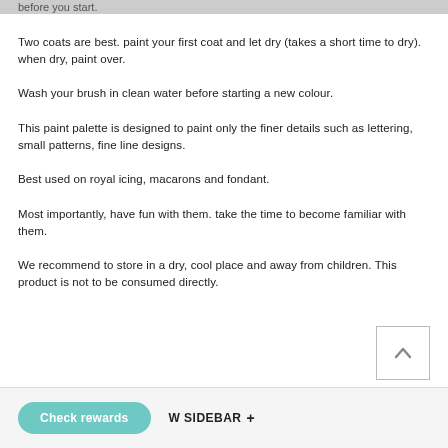before you start.
Two coats are best. paint your first coat and let dry (takes a short time to dry). when dry, paint over.
Wash your brush in clean water before starting a new colour.
This paint palette is designed to paint only the finer details such as lettering, small patterns, fine line designs.
Best used on royal icing, macarons and fondant.
Most importantly, have fun with them. take the time to become familiar with them.
We recommend to store in a dry, cool place and away from children. This product is not to be consumed directly.
Check rewards   W SIDEBAR +